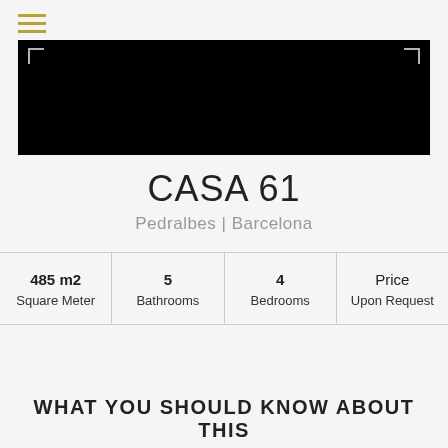≡
[Figure (photo): Large black hero image of a property with corner bracket markers at top-left and top-right]
CASA 61
Pedralbes | Barcelona
| 485 m2 | 5 | 4 | Price |
| Square Meter | Bathrooms | Bedrooms | Upon Request |
WHAT YOU SHOULD KNOW ABOUT THIS